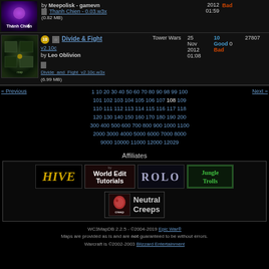| Thánh Chiến | by Meepolisk - gamevn
Thanh Chien - 0.03.w3x
(0.82 MB) |  | 2012
01:59 | Bad |  |
| Divide & Fight v2.10c by Leo Oblivion
Divide_and_Fight_v2.10c.w3x (6.99 MB) | Tower Wars | 25 Nov 2012 01:08 | 10
Good 0
Bad | 27807 |
« Previous  1 10 20 30 40 50 60 70 80 90 98 99 100 101 102 103 104 105 106 107 108 109 110 111 112 113 114 115 116 117 118 120 130 140 150 160 170 180 190 200 300 400 500 600 700 800 900 1000 1100 2000 3000 4000 5000 6000 7000 8000 9000 10000 11000 12000 12029  Next »
Affiliates
[Figure (screenshot): Affiliates section with logos: HIVE, World Edit Tutorials, ROLO, Jungle Trolls, and Neutral Creeps]
WC3MapDB 2.2.5 - ©2004-2019 Epic War®
Maps are provided as is and are not guaranteed to be without errors.
Warcraft is ©2002-2003 Blizzard Entertainment